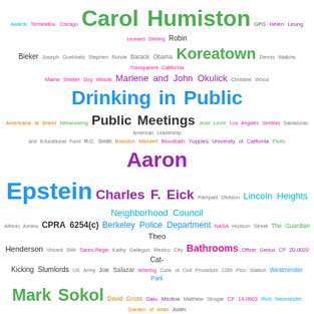[Figure (infographic): Word cloud featuring terms related to Los Angeles government, public meetings, neighborhoods, and legal references. Key terms include Carol Humiston, Koreatown, Drinking in Public, Public Meetings, Aaron Epstein, Charles F. Eick, Lincoln Heights Neighborhood Council, CPRA 6254(c), Berkeley Police Department, Theo Henderson, Bathrooms, Cat-Kicking Slumlords, Mark Sokol, Westchester Town Center BID, Philip King, Thurgood Marshall, Declarations Against Interest, KIPP LA, William Kuel, CF 13-1493-S5, Venice, Bob Dylan, YouTube, Cory Palka, North Hollywood Pedestrian Plaza, LAMC 85.02, LAMC 41.18(d), and many others. Terms vary in size, color, and weight indicating relative frequency or importance.]